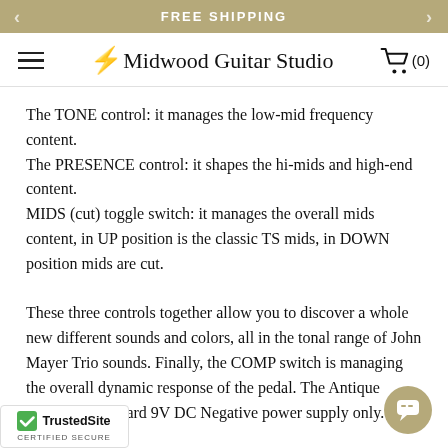FREE SHIPPING
Midwood Guitar Studio (0)
The TONE control: it manages the low-mid frequency content.
The PRESENCE control: it shapes the hi-mids and high-end content.
MIDS (cut) toggle switch: it manages the overall mids content, in UP position is the classic TS mids, in DOWN position mids are cut.

These three controls together allow you to discover a whole new different sounds and colors, all in the tonal range of John Mayer Trio sounds. Finally, the COMP switch is managing the overall dynamic response of the pedal. The Antique requires a standard 9V DC Negative power supply only.
[Figure (logo): TrustedSite Certified Secure badge with green checkmark]
[Figure (other): Chat button (speech bubble icon) in gold/tan circle]